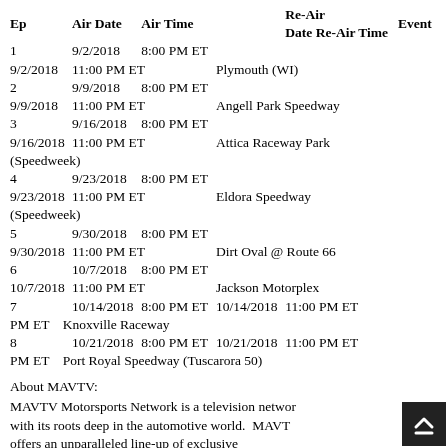| Ep | Air Date | Air Time | Re-Air Date | Re-Air Time | Event |
| --- | --- | --- | --- | --- | --- |
| 1 | 9/2/2018 | 8:00 PM ET | 9/2/2018 | 11:00 PM ET | Plymouth (WI) |
| 2 | 9/9/2018 | 8:00 PM ET | 9/9/2018 | 11:00 PM ET | Angell Park Speedway |
| 3 | 9/16/2018 | 8:00 PM ET | 9/16/2018 | 11:00 PM ET | Attica Raceway Park (Speedweek) |
| 4 | 9/23/2018 | 8:00 PM ET | 9/23/2018 | 11:00 PM ET | Eldora Speedway (Speedweek) |
| 5 | 9/30/2018 | 8:00 PM ET | 9/30/2018 | 11:00 PM ET | Dirt Oval @ Route 66 |
| 6 | 10/7/2018 | 8:00 PM ET | 10/7/2018 | 11:00 PM ET | Jackson Motorplex |
| 7 | 10/14/2018 | 8:00 PM ET | 10/14/2018 | 11:00 PM ET | Knoxville Raceway |
| 8 | 10/21/2018 | 8:00 PM ET | 10/21/2018 | 11:00 PM ET | Port Royal Speedway (Tuscarora 50) |
About MAVTV:
MAVTV Motorsports Network is a television network with its roots deep in the automotive world.  MAVTV offers an unparalleled line-up of exclusive